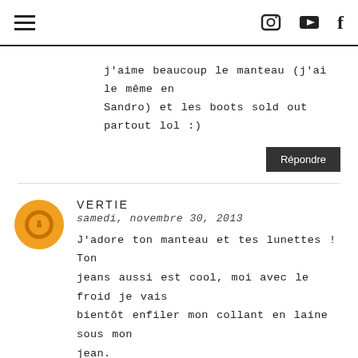≡  [instagram icon] [youtube icon] f
j'aime beaucoup le manteau (j'ai le même en Sandro) et les boots sold out partout lol :)
Répondre
VERTIE
samedi, novembre 30, 2013
J'adore ton manteau et tes lunettes ! Ton jeans aussi est cool, moi avec le froid je vais bientôt enfiler mon collant en laine sous mon jean.
http://vertiegraphie.blogspot.fr/
Répondre